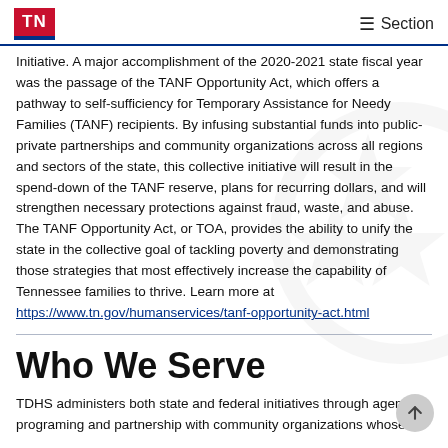TN  ☰ Section
Initiative. A major accomplishment of the 2020-2021 state fiscal year was the passage of the TANF Opportunity Act, which offers a pathway to self-sufficiency for Temporary Assistance for Needy Families (TANF) recipients. By infusing substantial funds into public-private partnerships and community organizations across all regions and sectors of the state, this collective initiative will result in the spend-down of the TANF reserve, plans for recurring dollars, and will strengthen necessary protections against fraud, waste, and abuse. The TANF Opportunity Act, or TOA, provides the ability to unify the state in the collective goal of tackling poverty and demonstrating those strategies that most effectively increase the capability of Tennessee families to thrive. Learn more at https://www.tn.gov/humanservices/tanf-opportunity-act.html
Who We Serve
TDHS administers both state and federal initiatives through agency programing and partnership with community organizations whose